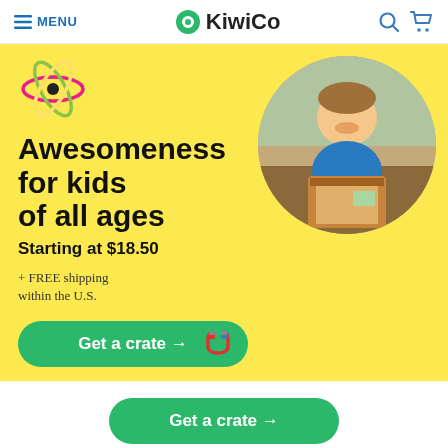MENU | KiwiCo
[Figure (logo): KiwiCo logo with green atom icon and KiwiCo wordmark]
[Figure (illustration): Colorful atom/science icon in pink, green, yellow orbits with black center]
Awesomeness for kids of all ages
Starting at $18.50
+ FREE shipping within the U.S.
[Figure (photo): Smiling young boy holding open a KiwiCo subscription box, shown in circular crop]
Get a crate →
Get a crate →